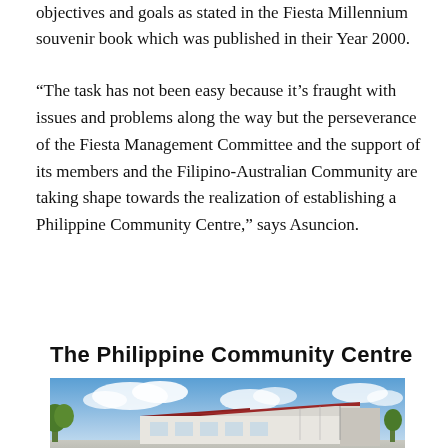objectives and goals as stated in the Fiesta Millennium souvenir book which was published in their Year 2000.
“The task has not been easy because it’s fraught with issues and problems along the way but the perseverance of the Fiesta Management Committee and the support of its members and the Filipino-Australian Community are taking shape towards the realization of establishing a Philippine Community Centre,” says Asuncion.
The Philippine Community Centre
[Figure (photo): Architectural rendering or photograph of a modern building with a red/brown canopy roof structure against a blue sky with clouds, with trees visible on the left.]